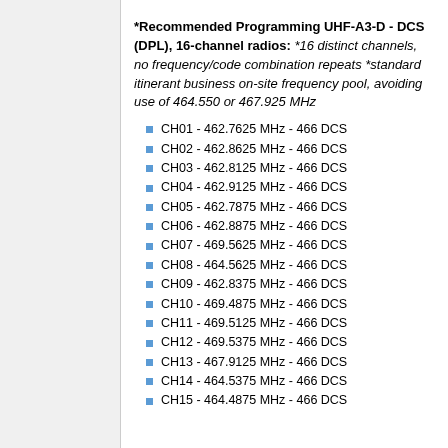*Recommended Programming UHF-A3-D - DCS (DPL), 16-channel radios: *16 distinct channels, no frequency/code combination repeats *standard itinerant business on-site frequency pool, avoiding use of 464.550 or 467.925 MHz
CH01 - 462.7625 MHz - 466 DCS
CH02 - 462.8625 MHz - 466 DCS
CH03 - 462.8125 MHz - 466 DCS
CH04 - 462.9125 MHz - 466 DCS
CH05 - 462.7875 MHz - 466 DCS
CH06 - 462.8875 MHz - 466 DCS
CH07 - 469.5625 MHz - 466 DCS
CH08 - 464.5625 MHz - 466 DCS
CH09 - 462.8375 MHz - 466 DCS
CH10 - 469.4875 MHz - 466 DCS
CH11 - 469.5125 MHz - 466 DCS
CH12 - 469.5375 MHz - 466 DCS
CH13 - 467.9125 MHz - 466 DCS
CH14 - 464.5375 MHz - 466 DCS
CH15 - 464.4875 MHz - 466 DCS